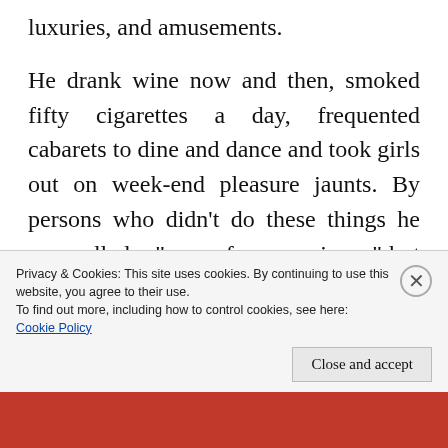luxuries, and amusements.
He drank wine now and then, smoked fifty cigarettes a day, frequented cabarets to dine and dance and took girls out on week-end pleasure jaunts. By persons who didn’t do these things he was called a “man of many crimes;” but he was merely a young man enjoying life.
He could afford his pleasures because he was
Privacy & Cookies: This site uses cookies. By continuing to use this website, you agree to their use.
To find out more, including how to control cookies, see here: Cookie Policy
Close and accept